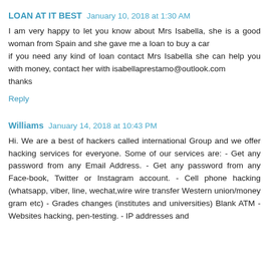LOAN AT IT BEST  January 10, 2018 at 1:30 AM
I am very happy to let you know about Mrs Isabella, she is a good woman from Spain and she gave me a loan to buy a car
if you need any kind of loan contact Mrs Isabella she can help you with money, contact her with isabellaprestamo@outlook.com
thanks
Reply
Williams  January 14, 2018 at 10:43 PM
Hi. We are a best of hackers called international Group and we offer hacking services for everyone. Some of our services are: - Get any password from any Email Address. - Get any password from any Face-book, Twitter or Instagram account. - Cell phone hacking (whatsapp, viber, line, wechat,wire wire transfer Western union/money gram etc) - Grades changes (institutes and universities) Blank ATM - Websites hacking, pen-testing. - IP addresses and